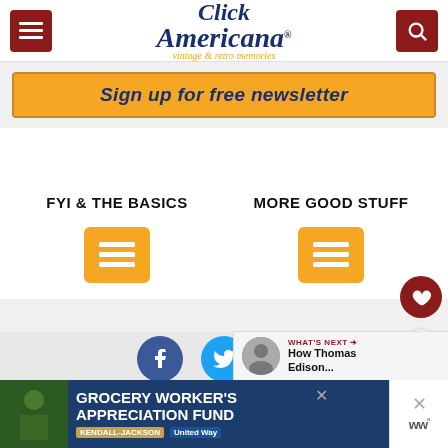Click Americana — vintage & retro memories
Sign up for free newsletter
FYI & THE BASICS
[Figure (other): Yellow hamburger menu icon button]
MORE GOOD STUFF
[Figure (other): Yellow hamburger menu icon button]
[Figure (other): Heart favorite FAB button and share FAB button]
WHAT'S NEXT → How Thomas Edison...
GROCERY WORKER'S APPRECIATION FUND